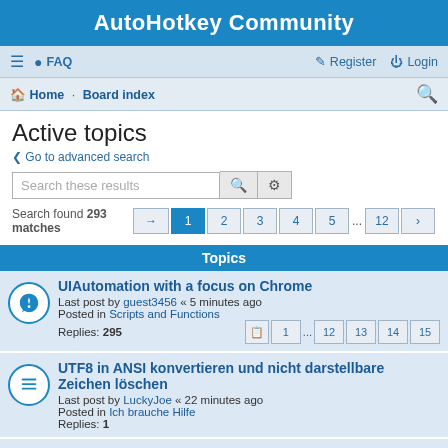AutoHotkey Community
≡  FAQ    Register  Login
Home · Board index
Active topics
< Go to advanced search
Search these results
Search found 293 matches  [→] 1 2 3 4 5 ... 12 [>]
Topics
UIAutomation with a focus on Chrome
Last post by guest3456 « 5 minutes ago
Posted in Scripts and Functions
Replies: 295
UTF8 in ANSI konvertieren und nicht darstellbare Zeichen löschen
Last post by LuckyJoe « 22 minutes ago
Posted in Ich brauche Hilfe
Replies: 1
Will v2 ever hit the stable state?
Last post by AHK_user « 27 minutes ago